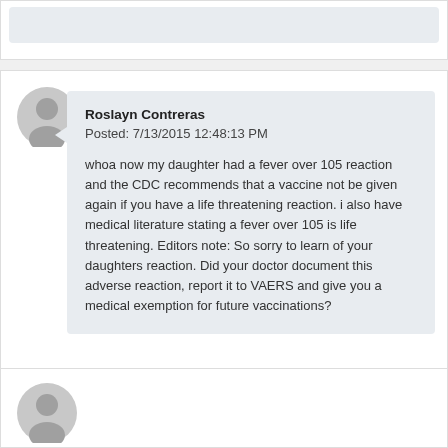[Figure (screenshot): Comment section from a website showing user comments about vaccine reactions. Top partial comment card, main comment card from Roslayn Contreras, and bottom partial comment card with user avatar.]
Roslayn Contreras
Posted: 7/13/2015 12:48:13 PM
whoa now my daughter had a fever over 105 reaction and the CDC recommends that a vaccine not be given again if you have a life threatening reaction. i also have medical literature stating a fever over 105 is life threatening. Editors note: So sorry to learn of your daughters reaction. Did your doctor document this adverse reaction, report it to VAERS and give you a medical exemption for future vaccinations?